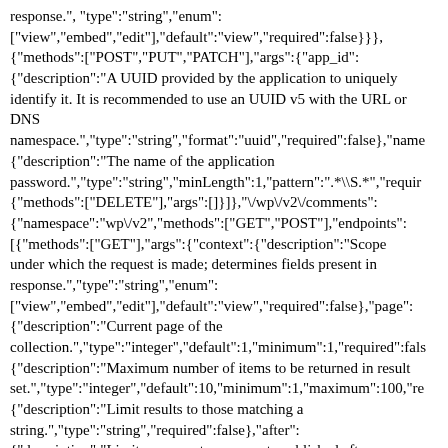response.","type":"string","enum": ["view","embed","edit"],"default":"view","required":false}}}, {"methods":["POST","PUT","PATCH"],"args":{"app_id": {"description":"A UUID provided by the application to uniquely identify it. It is recommended to use an UUID v5 with the URL or DNS namespace.","type":"string","format":"uuid","required":false},"name": {"description":"The name of the application password.","type":"string","minLength":1,"pattern":".*\\S.*","required": {"methods":["DELETE"],"args":[]}]},"\/wp\/v2\/comments": {"namespace":"wp\/v2","methods":["GET","POST"],"endpoints": [{"methods":["GET"],"args":{"context":{"description":"Scope under which the request is made; determines fields present in response.","type":"string","enum": ["view","embed","edit"],"default":"view","required":false},"page": {"description":"Current page of the collection.","type":"integer","default":1,"minimum":1,"required":false}, {"description":"Maximum number of items to be returned in result set.","type":"integer","default":10,"minimum":1,"maximum":100,"re {"description":"Limit results to those matching a string.","type":"string","required":false},"after": {"description":"Limit response to comments published after a given ISO8601 compliant date.","type":"string","format":"date-time","required":false},"author":{"description":"Limit result set to comments assigned to specific user IDs. Requires authorization.","type":"array","items":